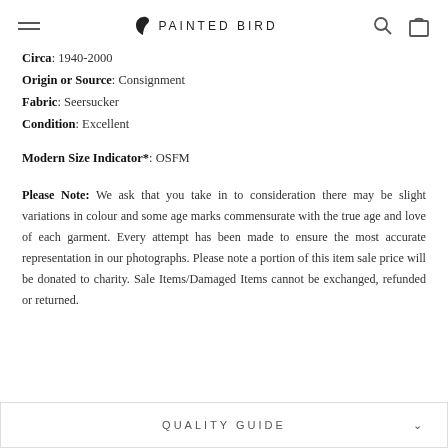PAINTED BIRD
Circa: 1940-2000
Origin or Source: Consignment
Fabric: Seersucker
Condition: Excellent
Modern Size Indicator*: OSFM
Please Note: We ask that you take in to consideration there may be slight variations in colour and some age marks commensurate with the true age and love of each garment. Every attempt has been made to ensure the most accurate representation in our photographs. Please note a portion of this item sale price will be donated to charity. Sale Items/Damaged Items cannot be exchanged, refunded or returned.
QUALITY GUIDE